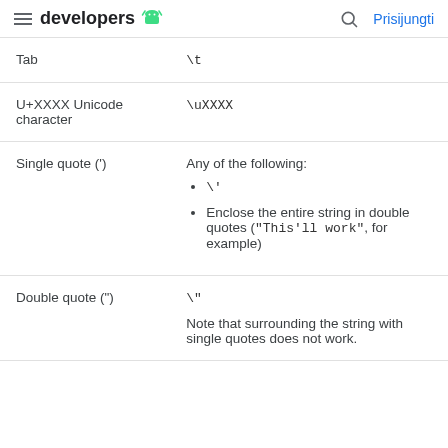developers | Prisijungti
| Tab | \t |
| U+XXXX Unicode character | \uXXXX |
| Single quote (') | Any of the following:
• \'
• Enclose the entire string in double quotes ("This'll work", for example) |
| Double quote (") | \"
Note that surrounding the string with single quotes does not work. |